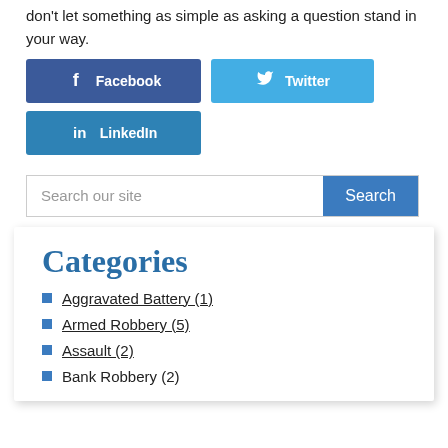don't let something as simple as asking a question stand in your way.
Facebook
Twitter
LinkedIn
Search our site
Categories
Aggravated Battery (1)
Armed Robbery (5)
Assault (2)
Bank Robbery (2)